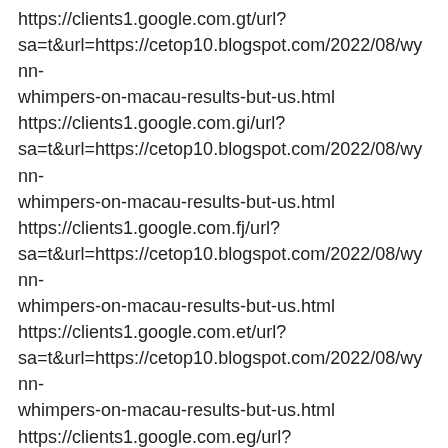https://clients1.google.com.gt/url?sa=t&url=https://cetop10.blogspot.com/2022/08/wynn-whimpers-on-macau-results-but-us.html
https://clients1.google.com.gi/url?sa=t&url=https://cetop10.blogspot.com/2022/08/wynn-whimpers-on-macau-results-but-us.html
https://clients1.google.com.fj/url?sa=t&url=https://cetop10.blogspot.com/2022/08/wynn-whimpers-on-macau-results-but-us.html
https://clients1.google.com.et/url?sa=t&url=https://cetop10.blogspot.com/2022/08/wynn-whimpers-on-macau-results-but-us.html
https://clients1.google.com.eg/url?sa=t&url=https://cetop10.blogspot.com/2022/08/wynn-whimpers-on-macau-results-but-us.html
https://clients1.google.com.ec/url?sa=t&url=https://cetop10.blogspot.com/2022/08/wynn-whimpers-on-macau-results-but-us.html
https://clients1.google.com.do/url?sa=t&url=https://cetop10.blogspot.com/2022/08/wynn-